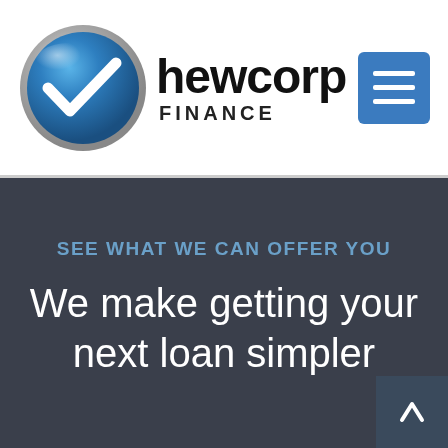[Figure (logo): Hewcorp Finance logo: blue circular badge with white checkmark, next to bold text 'hewcorp' and 'FINANCE' below]
[Figure (other): Blue hamburger menu icon button (three horizontal white lines on blue square background)]
SEE WHAT WE CAN OFFER YOU
We make getting your next loan simpler
[Figure (other): Back to top arrow button — dark square with white upward arrow]